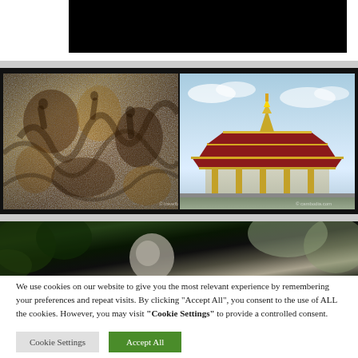[Figure (screenshot): Black header bar (website navigation/header area, mostly obscured)]
[Figure (photo): Two side-by-side photos: left shows brown stone relief carvings depicting figures/scenes (possibly Angkor Wat style), right shows a Thai or Southeast Asian temple building with ornate multi-tiered roof in gold and red, set against a blue sky]
[Figure (photo): Partial photo showing a dark scene with foliage and a light-colored round object, partially visible]
We use cookies on our website to give you the most relevant experience by remembering your preferences and repeat visits. By clicking “Accept All”, you consent to the use of ALL the cookies. However, you may visit “Cookie Settings” to provide a controlled consent.
Cookie Settings
Accept All